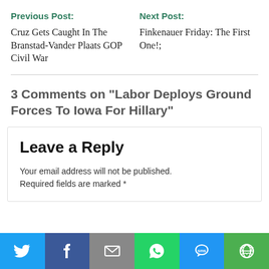Previous Post:
Cruz Gets Caught In The Branstad-Vander Plaats GOP Civil War
Next Post:
Finkenauer Friday: The First One!;
3 Comments on "Labor Deploys Ground Forces To Iowa For Hillary"
Leave a Reply
Your email address will not be published. Required fields are marked *